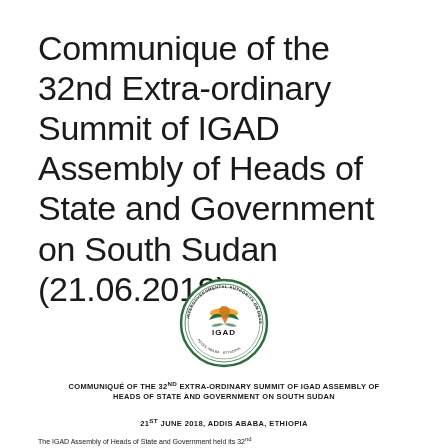Communique of the 32nd Extra-ordinary Summit of IGAD Assembly of Heads of State and Government on South Sudan (21.06.2018)
[Figure (logo): IGAD circular logo with text around the border, featuring an African continent graphic with orange and green colors and text 'IGAD' in the center]
COMMUNIQUÉ OF THE 32ND EXTRA-ORDINARY SUMMIT OF IGAD ASSEMBLY OF HEADS OF STATE AND GOVERNMENT ON SOUTH SUDAN
21ST JUNE 2018, ADDIS ABABA, ETHIOPIA
The IGAD Assembly of Heads of State and Government held its 32nd